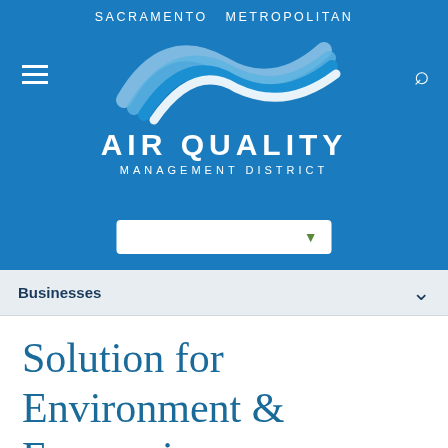[Figure (logo): Sacramento Metropolitan Air Quality Management District logo with blue wave graphic and text]
Businesses
Solution for Environment & Economic Development (SEED)